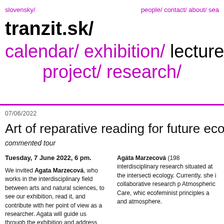slovensky/   people/ contact/ about/ sea
tranzit.sk/
calendar/ exhibition/ lecture/ s project/ research/
07/06/2022
Art of reparative reading for future ecologie
commented tour
Tuesday, 7 June 2022, 6 pm.
We invited Agata Marzecová, who works in the interdisciplinary field between arts and natural sciences, to see our exhibition, read it, and contribute with her point of view as a researcher. Agata will guide us through the exhibition and address the challenges of today's spectatorship in encountering
Agáta Marzecová (198 interdisciplinary research situated at the intersecti ecology. Currently, she i collaborative research p Atmospheric Care, whic ecofeminist principles a and atmosphere.